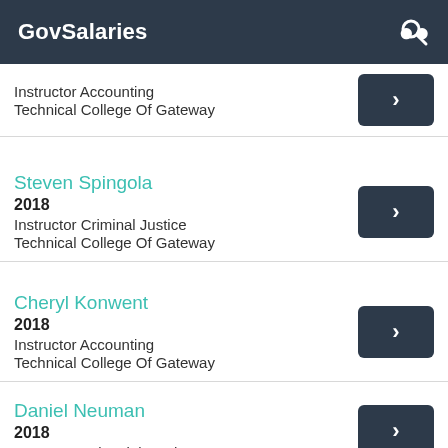GovSalaries
Instructor Accounting
Technical College Of Gateway
Steven Spingola
2018
Instructor Criminal Justice
Technical College Of Gateway
Cheryl Konwent
2018
Instructor Accounting
Technical College Of Gateway
Daniel Neuman
2018
Instructor Industrial Mecha